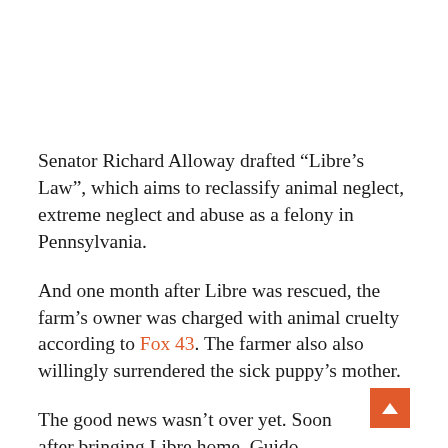Senator Richard Alloway drafted “Libre’s Law”, which aims to reclassify animal neglect, extreme neglect and abuse as a felony in Pennsylvania.
And one month after Libre was rescued, the farm’s owner was charged with animal cruelty according to Fox 43. The farmer also also willingly surrendered the sick puppy’s mother.
The good news wasn’t over yet. Soon after bringing Libre home, Guido officially adopted him. He now lives with her and her seven dogs as part of her family.